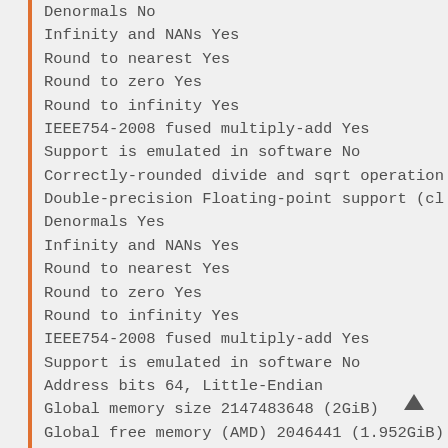Denormals No
Infinity and NANs Yes
Round to nearest Yes
Round to zero Yes
Round to infinity Yes
IEEE754-2008 fused multiply-add Yes
Support is emulated in software No
Correctly-rounded divide and sqrt operation
Double-precision Floating-point support (cl
Denormals Yes
Infinity and NANs Yes
Round to nearest Yes
Round to zero Yes
Round to infinity Yes
IEEE754-2008 fused multiply-add Yes
Support is emulated in software No
Address bits 64, Little-Endian
Global memory size 2147483648 (2GiB)
Global free memory (AMD) 2046441 (1.952GiB)